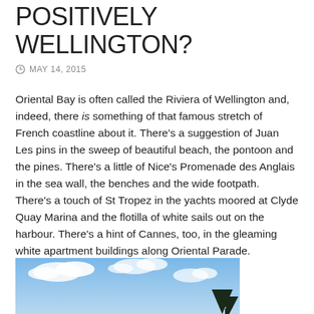POSITIVELY WELLINGTON?
MAY 14, 2015
Oriental Bay is often called the Riviera of Wellington and, indeed, there is something of that famous stretch of French coastline about it. There's a suggestion of Juan Les pins in the sweep of beautiful beach, the pontoon and the pines. There's a little of Nice's Promenade des Anglais in the sea wall, the benches and the wide footpath.  There's a touch of St Tropez in the yachts moored at Clyde Quay Marina and the flotilla of white sails out on the harbour. There's a hint of Cannes, too, in the gleaming white apartment buildings along Oriental Parade.
[Figure (photo): Blue sky with white clouds and a dark tree silhouette in the bottom right corner]